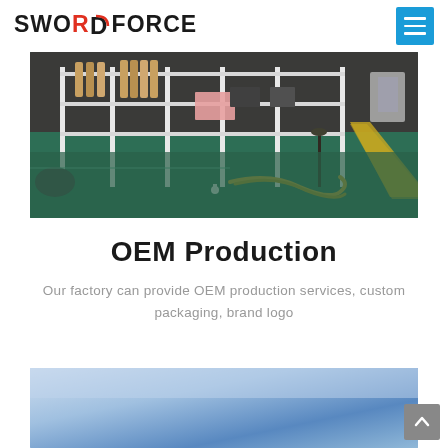SWORDFORCE
[Figure (photo): Factory interior showing metal shelving racks with products on a green epoxy floor, with cables and equipment visible]
OEM Production
Our factory can provide OEM production services, custom packaging, brand logo
[Figure (photo): Blue gradient background image, partially visible at bottom of page]